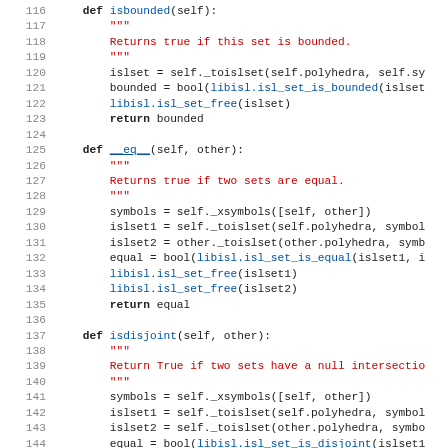Python source code lines 116-147 showing isbounded, __eq__, and isdisjoint method definitions